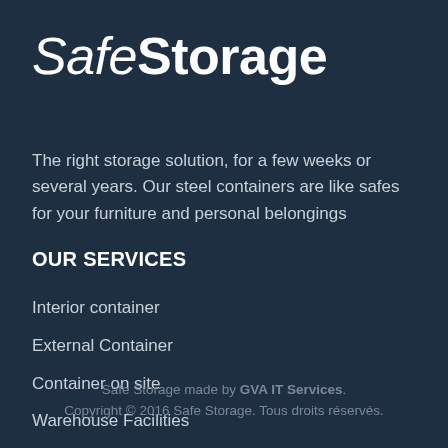SafeStorage
The right storage solution, for a few weeks or several years. Our steel containers are like safes for your furniture and personal belongings
OUR SERVICES
Interior container
External Container
Container on site
Warehouse Facilities
Safe Storage made by GVA IT Services.
Copyright © 2016 Safe Storage. Tous droits réservés.